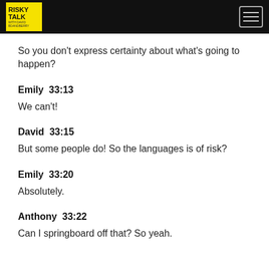RISKY TALK
So you don't express certainty about what's going to happen?
Emily  33:13
We can't!
David  33:15
But some people do! So the languages is of risk?
Emily  33:20
Absolutely.
Anthony  33:22
Can I springboard off that? So yeah.